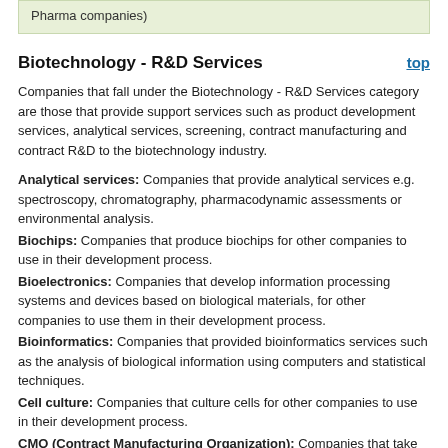Pharma companies)
Biotechnology - R&D Services
Companies that fall under the Biotechnology - R&D Services category are those that provide support services such as product development services, analytical services, screening, contract manufacturing and contract R&D to the biotechnology industry.
Analytical services: Companies that provide analytical services e.g. spectroscopy, chromatography, pharmacodynamic assessments or environmental analysis.
Biochips: Companies that produce biochips for other companies to use in their development process.
Bioelectronics: Companies that develop information processing systems and devices based on biological materials, for other companies to use them in their development process.
Bioinformatics: Companies that provided bioinformatics services such as the analysis of biological information using computers and statistical techniques.
Cell culture: Companies that culture cells for other companies to use in their development process.
CMO (Contract Manufacturing Organization): Companies that take